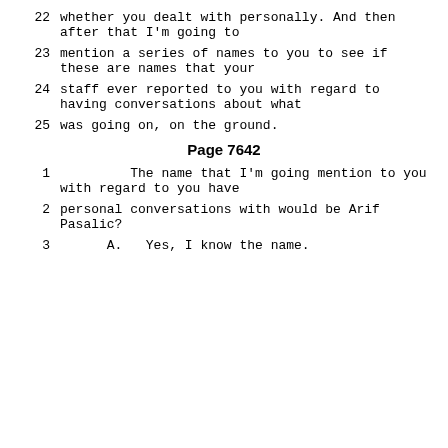22     whether you dealt with personally.  And then after that I'm going to
23     mention a series of names to you to see if these are names that your
24     staff ever reported to you with regard to having conversations about what
25     was going on, on the ground.
Page 7642
1          The name that I'm going mention to you with regard to you have
2     personal conversations with would be Arif Pasalic?
3          A.   Yes, I know the name.